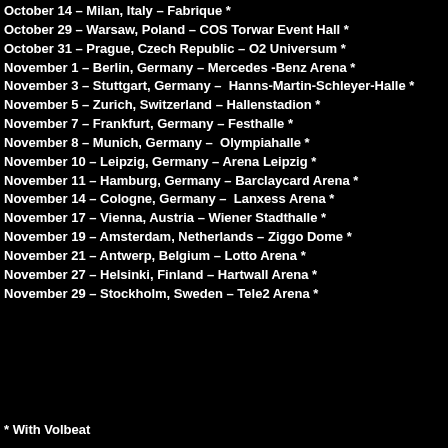October 14 – Milan, Italy – Fabrique *
October 29 – Warsaw, Poland – COS Torwar Event Hall *
October 31 – Prague, Czech Republic – O2 Universum *
November 1 – Berlin, Germany – Mercedes -Benz Arena *
November 3 – Stuttgart, Germany –  Hanns-Martin-Schleyer-Halle *
November 5 – Zurich, Switzerland – Hallenstadion *
November 7 – Frankfurt, Germany – Festhalle *
November 8 – Munich, Germany –  Olympiahalle *
November 10 – Leipzig, Germany – Arena Leipzig *
November 11 – Hamburg, Germany – Barclaycard Arena *
November 14 – Cologne, Germany –  Lanxess Arena *
November 17 – Vienna, Austria – Wiener Stadthalle *
November 19 – Amsterdam, Netherlands – Ziggo Dome *
November 21 – Antwerp, Belgium – Lotto Arena *
November 27 – Helsinki, Finland – Hartwall Arena *
November 29 – Stockholm, Sweden – Tele2 Arena *
* With Volbeat